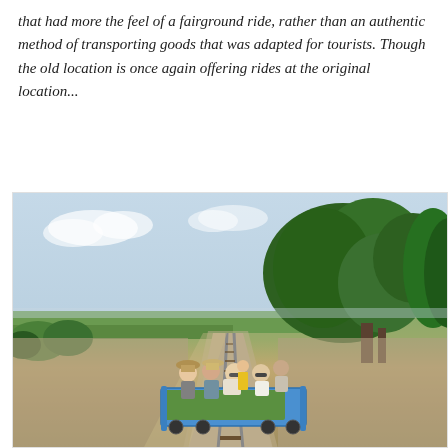that had more the feel of a fairground ride, rather than an authentic method of transporting goods that was adapted for tourists. Though the old location is once again offering rides at the original location...
[Figure (photo): Group of tourists riding a bamboo train (blue flatbed cart) on a single railway track through flat Cambodian countryside, with trees on the right side and open sky, a child in yellow dress standing beside the track]